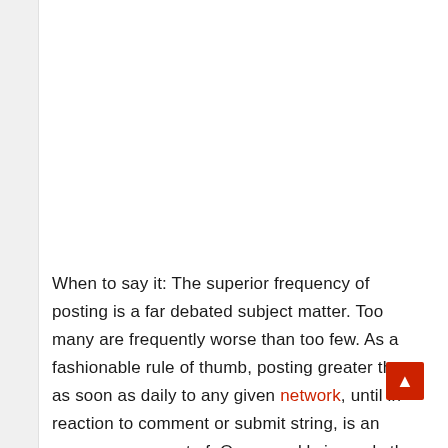When to say it: The superior frequency of posting is a far debated subject matter. Too many are frequently worse than too few. As a fashionable rule of thumb, posting greater than as soon as daily to any given network, until in reaction to comment or submit string, is an excessive amount of. Once weekly is ready the minimum; however,